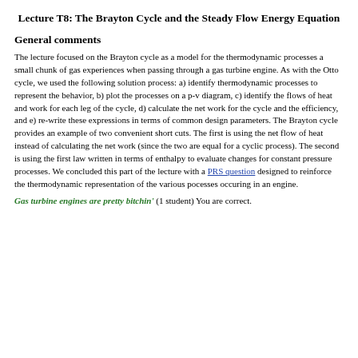Lecture T8: The Brayton Cycle and the Steady Flow Energy Equation
General comments
The lecture focused on the Brayton cycle as a model for the thermodynamic processes a small chunk of gas experiences when passing through a gas turbine engine. As with the Otto cycle, we used the following solution process: a) identify thermodynamic processes to represent the behavior, b) plot the processes on a p-v diagram, c) identify the flows of heat and work for each leg of the cycle, d) calculate the net work for the cycle and the efficiency, and e) re-write these expressions in terms of common design parameters. The Brayton cycle provides an example of two convenient short cuts. The first is using the net flow of heat instead of calculating the net work (since the two are equal for a cyclic process). The second is using the first law written in terms of enthalpy to evaluate changes for constant pressure processes. We concluded this part of the lecture with a PRS question designed to reinforce the thermodynamic representation of the various pocesses occuring in an engine.
Gas turbine engines are pretty bitchin' (1 student) You are correct.